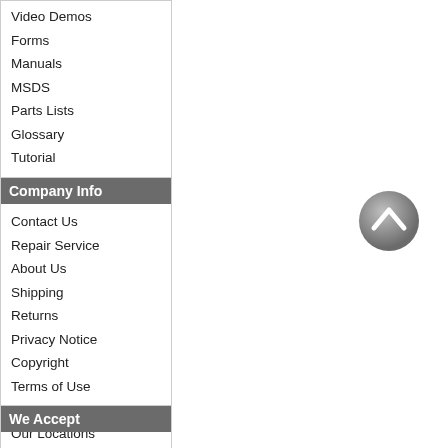Video Demos
Forms
Manuals
MSDS
Parts Lists
Glossary
Tutorial
Sitemap
Company Info
Contact Us
Repair Service
About Us
Shipping
Returns
Privacy Notice
Copyright
Terms of Use
Job Openings
Our Locations
Related Products
Help us Improve
We Accept
[Figure (illustration): Gray circular back/up arrow button icon]